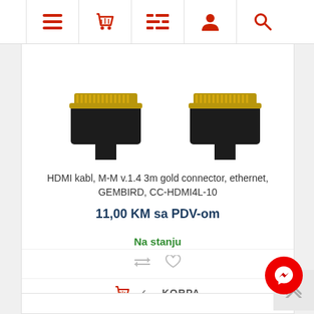Navigation bar with menu, cart, list, user, and search icons
[Figure (photo): Two HDMI gold-plated connectors (male) shown close-up, partially cropped at top]
HDMI kabl, M-M v.1.4 3m gold connector, ethernet, GEMBIRD, CC-HDMI4L-10
11,00 KM sa PDV-om
Na stanju
✓ KORPA